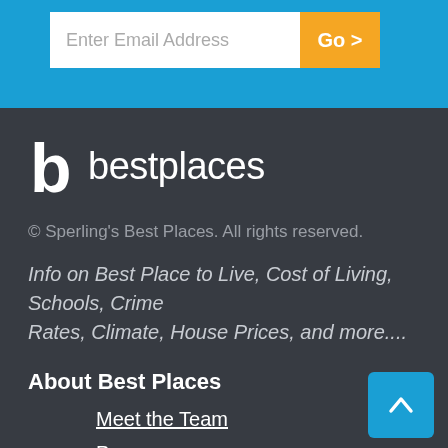[Figure (screenshot): Email input field with placeholder 'Enter Email Address' and orange 'Go >' button on blue background]
[Figure (logo): bestplaces logo with stylized 'b' icon and text 'bestplaces' in white on dark background]
© Sperling's Best Places. All rights reserved.
Info on Best Place to Live, Cost of Living, Schools, Crime Rates, Climate, House Prices, and more....
About Best Places
Meet the Team
Press
Contact
Log In
Sign Up